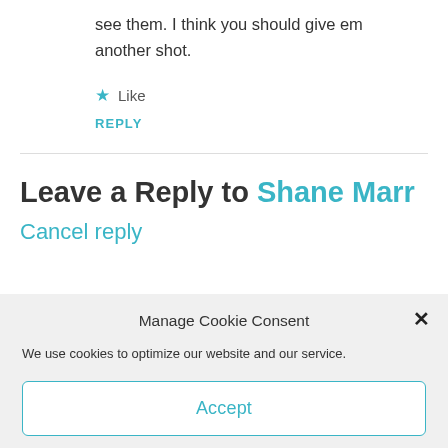see them. I think you should give em another shot.
★ Like
REPLY
Leave a Reply to Shane Marr
Cancel reply
Manage Cookie Consent
We use cookies to optimize our website and our service.
Accept